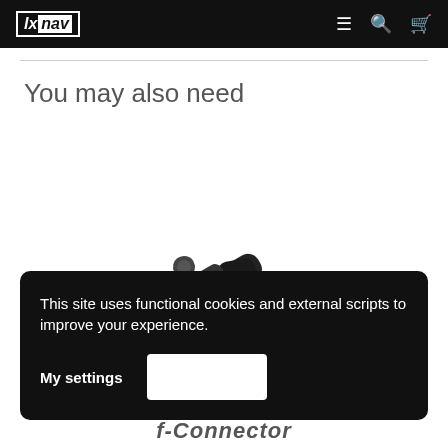lxnav — navigation bar with menu, search, and cart icons
You may also need
[Figure (photo): A black L-shaped connector plug/jack component shown against white background, partially visible]
This site uses functional cookies and external scripts to improve your experience.
My settings
f-Connector